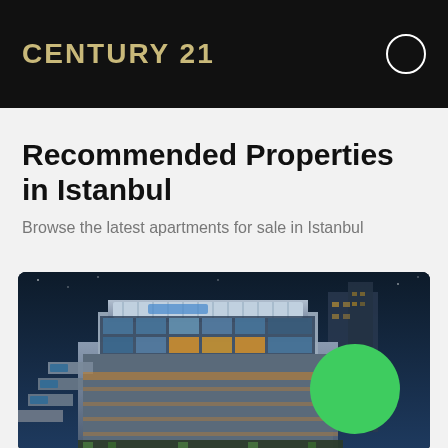CENTURY 21
Recommended Properties in Istanbul
Browse the latest apartments for sale in Istanbul
[Figure (photo): Aerial night-time render of a modern luxury apartment complex in Istanbul with rooftop pools, glass facades, and a bright green circle overlay in the lower right]